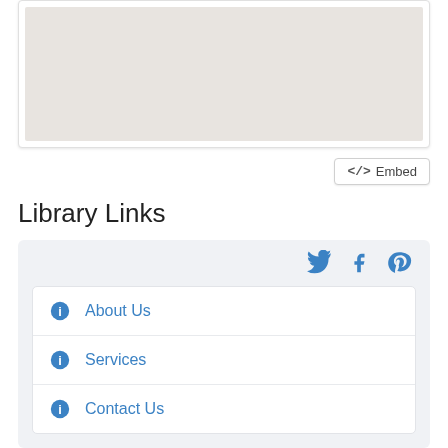[Figure (map): A gray placeholder map area inside a white rounded card]
</> Embed
Library Links
About Us
Services
Contact Us